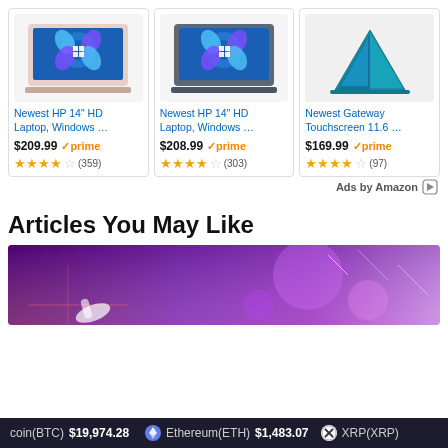[Figure (screenshot): Amazon ad card: Pink HP laptop with Windows 11, product listing]
Newest HP 14" HD Laptop, Windows …
$209.99 ✓prime
★★★★☆ (359)
[Figure (screenshot): Amazon ad card: Grey HP laptop with Windows 11, product listing]
Newest HP 14" HD Laptop, Windows …
$208.99 ✓prime
★★★★☆ (303)
[Figure (screenshot): Amazon ad card: Teal Gateway touchscreen laptop, product listing]
Newest Gateway Touchscreen 11.6 …
$169.99 ✓prime
★★★★☆ (97)
Ads by Amazon
Articles You May Like
[Figure (photo): Purple/red abstract tech image with circuit board elements, partially visible]
coin(BTC) $19,974.28   Ethereum(ETH) $1,483.07   XRP(XRP)